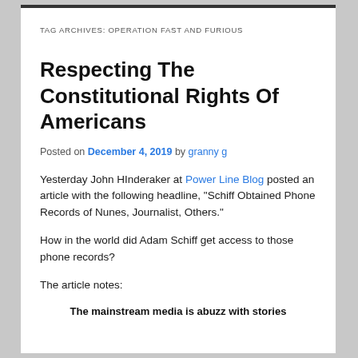TAG ARCHIVES: OPERATION FAST AND FURIOUS
Respecting The Constitutional Rights Of Americans
Posted on December 4, 2019 by granny g
Yesterday John HInderaker at Power Line Blog posted an article with the following headline, “Schiff Obtained Phone Records of Nunes, Journalist, Others.”
How in the world did Adam Schiff get access to those phone records?
The article notes:
The mainstream media is abuzz with stories